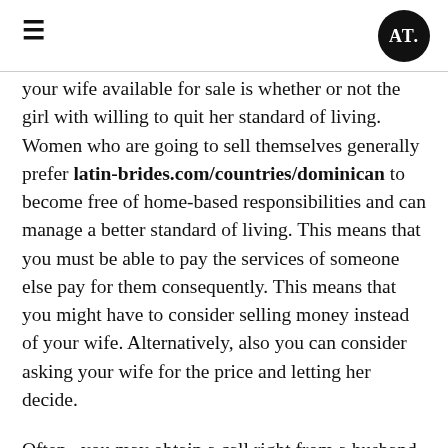≡  AT
your wife available for sale is whether or not the girl with willing to quit her standard of living. Women who are going to sell themselves generally prefer latin-brides.com/countries/dominican to become free of home-based responsibilities and can manage a better standard of living. This means that you must be able to pay the services of someone else pay for them consequently. This means that you might have to consider selling money instead of your wife. Alternatively, also you can consider asking your wife for the price and letting her decide.
Often , you may obtain a call right from a husband seeking to offer his better half for money. These kinds of couples come with an interesting history. In the early 1800s, dowries were exceptionally high, and women inside the wealthy class may often have a very good